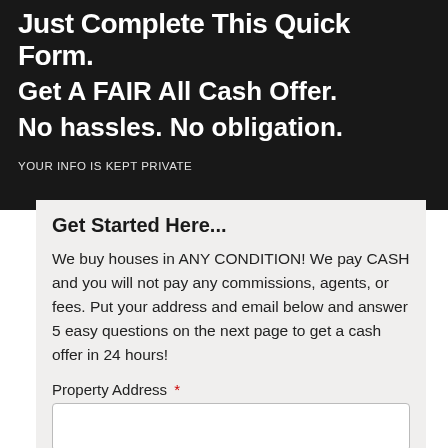Just Complete This Quick Form.
Get A FAIR All Cash Offer.
No hassles. No obligation.
YOUR INFO IS KEPT PRIVATE
Get Started Here...
We buy houses in ANY CONDITION! We pay CASH and you will not pay any commissions, agents, or fees. Put your address and email below and answer 5 easy questions on the next page to get a cash offer in 24 hours!
Property Address *
Phone